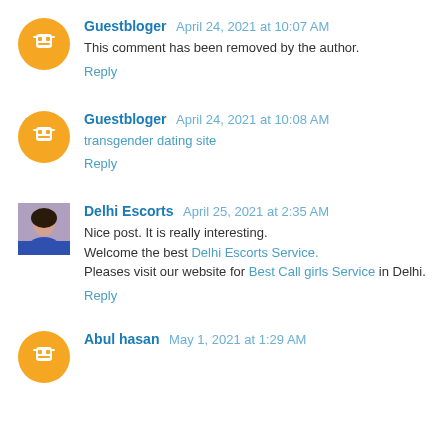Guestbloger  April 24, 2021 at 10:07 AM
This comment has been removed by the author.
Reply
Guestbloger  April 24, 2021 at 10:08 AM
transgender dating site
Reply
Delhi Escorts  April 25, 2021 at 2:35 AM
Nice post. It is really interesting.
Welcome the best Delhi Escorts Service.
Pleases visit our website for Best Call girls Service in Delhi.
Reply
Abul hasan  May 1, 2021 at 1:29 AM